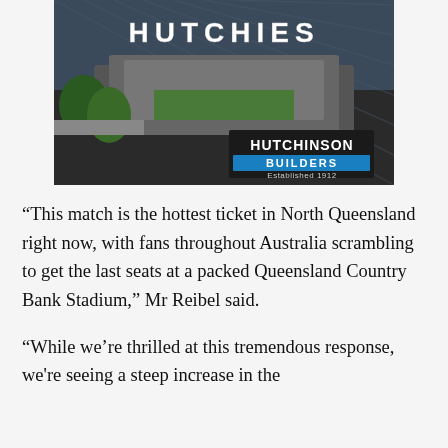[Figure (illustration): Hutchinson Builders advertisement showing aerial photo of Queensland Country Bank Stadium with 'HUTCHIES' text at top and Hutchinson Builders logo (white text on dark background with blue bar reading BUILDERS, Established 1912)]
“This match is the hottest ticket in North Queensland right now, with fans throughout Australia scrambling to get the last seats at a packed Queensland Country Bank Stadium,” Mr Reibel said.
“While we’re thrilled at this tremendous response, we're seeing a steep increase in the